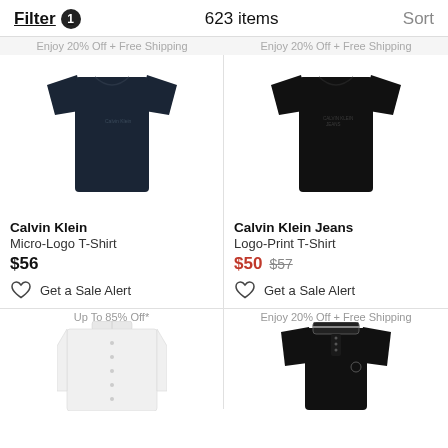Filter 1   623 items   Sort
Enjoy 20% Off + Free Shipping   Enjoy 20% Off + Free Shipping
[Figure (photo): Dark navy Calvin Klein Micro-Logo T-Shirt on white background]
Calvin Klein
Micro-Logo T-Shirt
$56
♡ Get a Sale Alert
[Figure (photo): Black Calvin Klein Jeans Logo-Print T-Shirt on white background]
Calvin Klein Jeans
Logo-Print T-Shirt
$50 $57
♡ Get a Sale Alert
Up To 85% Off*
[Figure (photo): White long-sleeve button-down shirt, partially shown]
Enjoy 20% Off + Free Shipping
[Figure (photo): Black polo shirt with collar, partially shown]